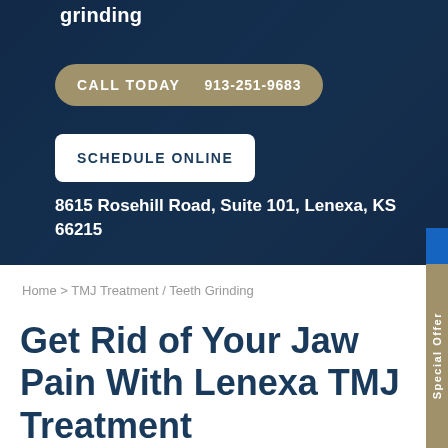grinding
CALL TODAY   913-251-9683
SCHEDULE ONLINE
8615 Rosehill Road, Suite 101, Lenexa, KS 66215
Special Offer
Home > TMJ Treatment / Teeth Grinding
Get Rid of Your Jaw Pain With Lenexa TMJ Treatment